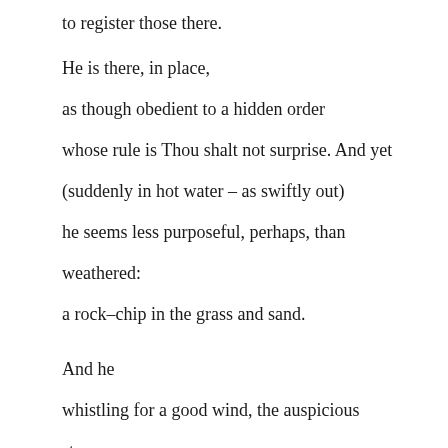to register those there.
He is there, in place,
as though obedient to a hidden order
whose rule is Thou shalt not surprise. And yet
(suddenly in hot water – as swiftly out)
he seems less purposeful, perhaps, than
weathered:
a rock–chip in the grass and sand.
And he
whistling for a good wind, the auspicious
stars,